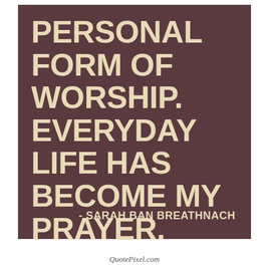[Figure (infographic): Dark brownish-purple quote card with large bold cream/tan text reading 'PERSONAL FORM OF WORSHIP. EVERYDAY LIFE HAS BECOME MY PRAYER.' and attribution '- SARAH BAN BREATHNACH' in the lower right.]
QuotePixel.com